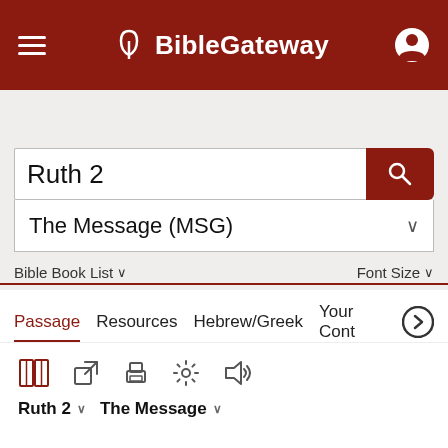[Figure (screenshot): BibleGateway website header with dark red background, hamburger menu icon on left, BibleGateway logo in center, user account icon on right]
Ruth 2
The Message (MSG)
Bible Book List ∨
Font Size ∨
Passage
Resources
Hebrew/Greek
Your Cont
Ruth 2 ∨   The Message ∨